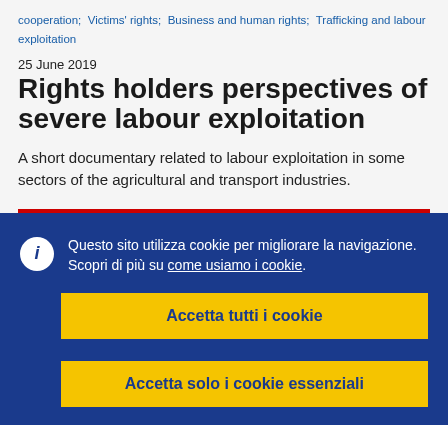cooperation; Victims' rights; Business and human rights; Trafficking and labour exploitation
25 June 2019
Rights holders perspectives of severe labour exploitation
A short documentary related to labour exploitation in some sectors of the agricultural and transport industries.
Questo sito utilizza cookie per migliorare la navigazione. Scopri di più su come usiamo i cookie.
Accetta tutti i cookie
Accetta solo i cookie essenziali